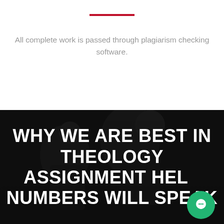All complete work is passed through plagiarism checking software.
WHY WE ARE BEST IN THEOLOGY ASSIGNMENT HELP NUMBERS WILL SPEAK